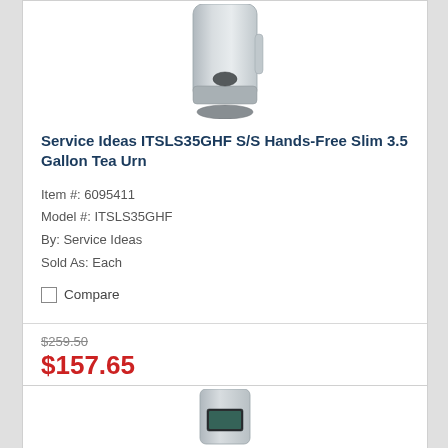[Figure (photo): Stainless steel hands-free slim tea urn product photo, top portion visible]
Service Ideas ITSLS35GHF S/S Hands-Free Slim 3.5 Gallon Tea Urn
Item #: 6095411
Model #: ITSLS35GHF
By: Service Ideas
Sold As: Each
Compare
$259.50
$157.65
ADD TO CART
[Figure (photo): Second product stainless steel urn, partially visible at bottom of page]